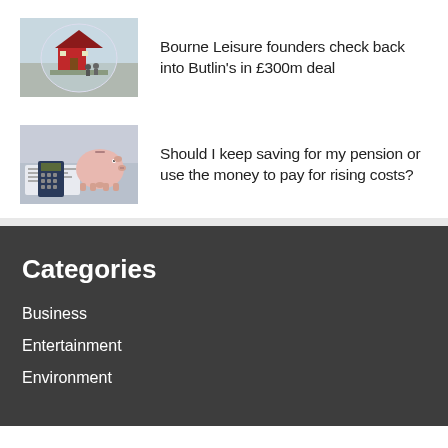[Figure (photo): Photo of a red miniature house under a glass dome, associated with Bourne Leisure / Butlin's article]
Bourne Leisure founders check back into Butlin's in £300m deal
[Figure (photo): Photo of a piggy bank with calculator and documents, associated with pension savings article]
Should I keep saving for my pension or use the money to pay for rising costs?
Categories
Business
Entertainment
Environment